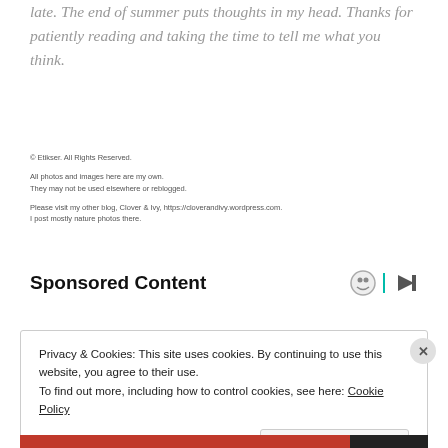late. The end of summer puts thoughts in my head. Thanks for patiently reading and taking the time to tell me what you think.
© Etikser. All Rights Reserved.

All photos and images here are my own.
They may not be used elsewhere or reblogged.

Please visit my other blog, Clover & Ivy, https://cloverandivy.wordpress.com.
I post mostly nature photos there.
Sponsored Content
Privacy & Cookies: This site uses cookies. By continuing to use this website, you agree to their use.
To find out more, including how to control cookies, see here: Cookie Policy
Close and accept